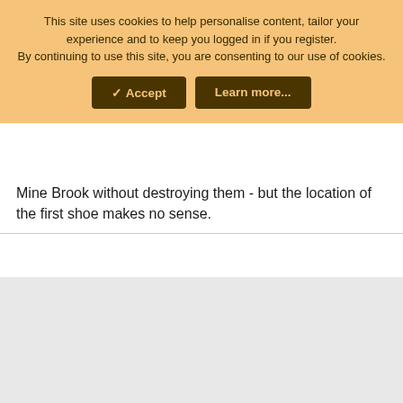This site uses cookies to help personalise content, tailor your experience and to keep you logged in if you register. By continuing to use this site, you are consenting to our use of cookies.
✓ Accept | Learn more...
Mine Brook without destroying them - but the location of the first shoe makes no sense.
[Figure (other): Grey placeholder area (advertisement or content block)]
RainMH11
New Member